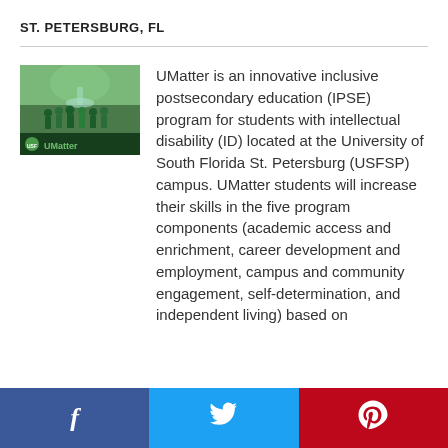ST. PETERSBURG, FL
[Figure (photo): Group photo of students in green UMatter t-shirts with a UMatter banner, outdoors near a fountain.]
UMatter is an innovative inclusive postsecondary education (IPSE) program for students with intellectual disability (ID) located at the University of South Florida St. Petersburg (USFSP) campus. UMatter students will increase their skills in the five program components (academic access and enrichment, career development and employment, campus and community engagement, self-determination, and independent living) based on
f  (Twitter bird icon)  p